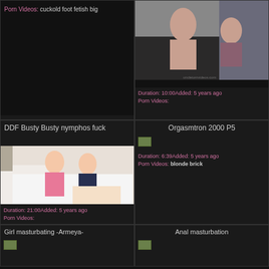Porn Videos: cuckold foot fetish big
[Figure (photo): Adult video thumbnail showing two people on a couch]
Duration: 10:00 Added: 5 years ago Porn Videos:
DDF Busty Busty nymphos fuck
Orgasmtron 2000 P5
[Figure (photo): Adult video thumbnail showing two blonde women on a white couch]
[Figure (photo): Small thumbnail for Orgasmtron 2000 P5]
Duration: 21:00 Added: 5 years ago Porn Videos:
Duration: 6:39 Added: 5 years ago Porn Videos: blonde brick
Girl masturbating -Armeya-
Anal masturbation
[Figure (photo): Small thumbnail for Girl masturbating]
[Figure (photo): Small thumbnail for Anal masturbation]